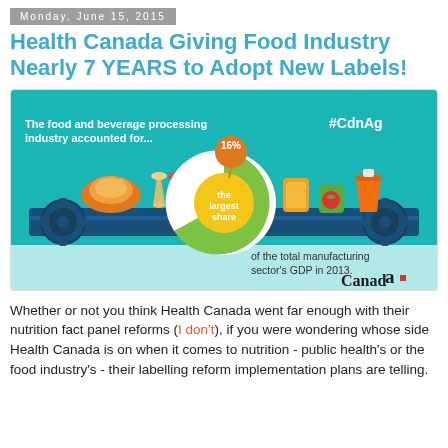Monday, June 15, 2015
Health Canada Giving Food Industry Nearly 7 YEARS to Adopt New Labels!
[Figure (infographic): Infographic showing a food conveyor belt with food items (bread, wine glasses, orange juice, strawberry cup, orange drink). A donut chart in the center shows 16% in an orange bubble at top, with a green and white donut chart labeled 'the largest share' in yellow center circle. Text reads 'The food and beverage processing industry accounted for...' and 'of the total manufacturing sector's GDP in 2013.' '#CdnAg' hashtag top right. Canada wordmark bottom right.]
Whether or not you think Health Canada went far enough with their nutrition fact panel reforms (I don't), if you were wondering whose side Health Canada is on when it comes to nutrition - public health's or the food industry's - their labelling reform implementation plans are telling.